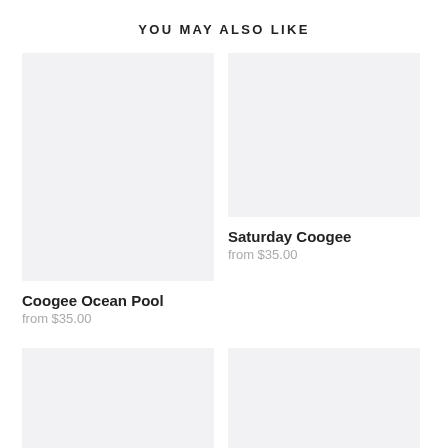YOU MAY ALSO LIKE
[Figure (photo): Gray placeholder image for Coogee Ocean Pool product]
Coogee Ocean Pool
from $35.00
[Figure (photo): Gray placeholder image for Saturday Coogee product]
Saturday Coogee
from $35.00
[Figure (photo): Gray placeholder image bottom left]
[Figure (photo): Gray placeholder image bottom right]